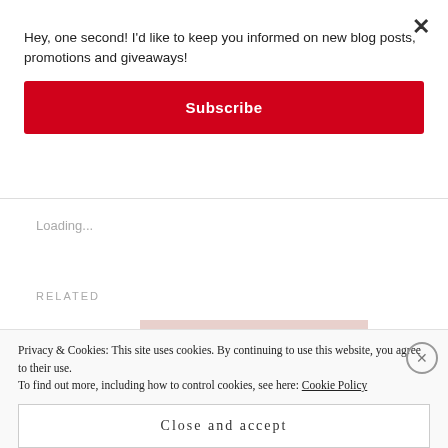Hey, one second! I'd like to keep you informed on new blog posts, promotions and giveaways!
Subscribe
Loading...
RELATED
Privacy & Cookies: This site uses cookies. By continuing to use this website, you agree to their use.
To find out more, including how to control cookies, see here: Cookie Policy
Close and accept